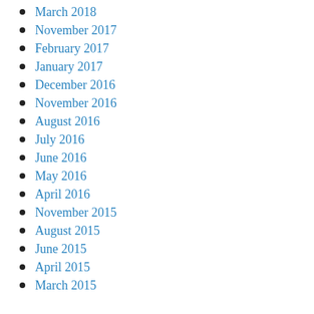March 2018
November 2017
February 2017
January 2017
December 2016
November 2016
August 2016
July 2016
June 2016
May 2016
April 2016
November 2015
August 2015
June 2015
April 2015
March 2015